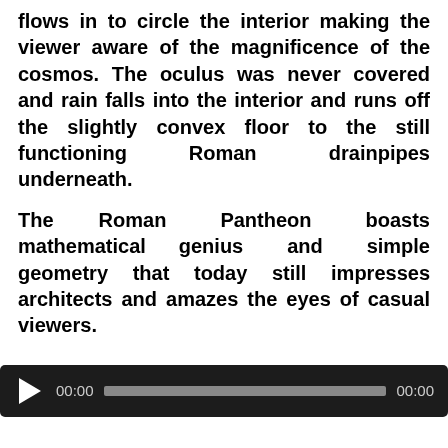flows in to circle the interior making the viewer aware of the magnificence of the cosmos. The oculus was never covered and rain falls into the interior and runs off the slightly convex floor to the still functioning Roman drainpipes underneath.
The Roman Pantheon boasts mathematical genius and simple geometry that today still impresses architects and amazes the eyes of casual viewers.
[Figure (other): Audio/video media player control bar with play button, time display 00:00, progress bar, and end time 00:00 on dark background]